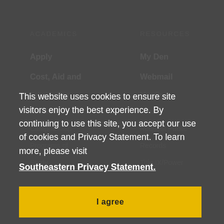ACADEMICS
RESOURCES
Apply
My Den
Cost, Aid and
Webmail
Scholarships
Moodle
Financial
Library
Campus Map
Request Public
Programs of
Records
Study
Title IX/Power
This website uses cookies to ensure site visitors enjoy the best experience. By continuing to use this site, you accept our use of cookies and Privacy Statement. To learn more, please visit Southeastern Privacy Statement.
I agree